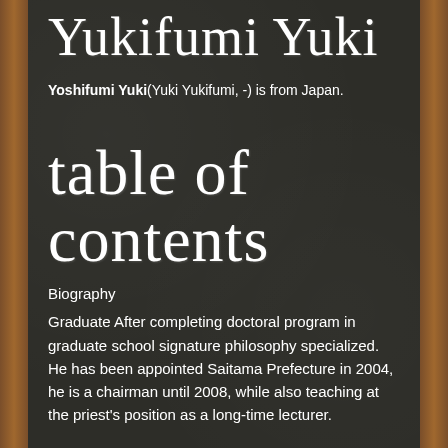Yukifumi Yuki
Yoshifumi Yuki(Yuki Yukifumi, -) is from Japan.
table of contents
Biography
Graduate After completing doctoral program in graduate school signature philosophy specialized. He has been appointed Saitama Prefecture in 2004, he is a chairman until 2008, while also teaching at the priest's position as a long-time lecturer.